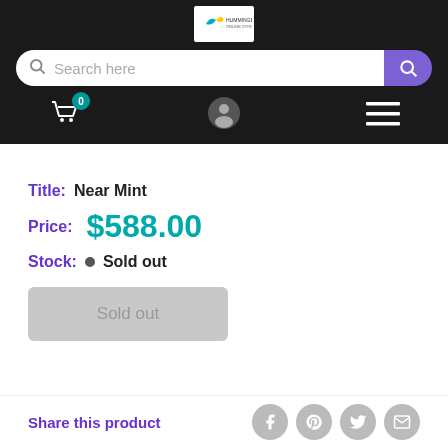[Figure (logo): Hummingbird logo for online store]
Search here
Title: Near Mint
Price: $588.00
Stock: • Sold out
Sold out
Share this product